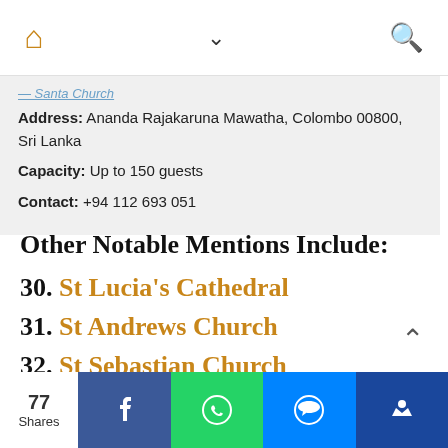Home | Menu | Search
Address: Ananda Rajakaruna Mawatha, Colombo 00800, Sri Lanka
Capacity: Up to 150 guests
Contact: +94 112 693 051
Other Notable Mentions Include:
30. St Lucia's Cathedral
31. St Andrews Church
32. St Sebastian Church
77 Shares | Facebook | WhatsApp | Messenger | Crown